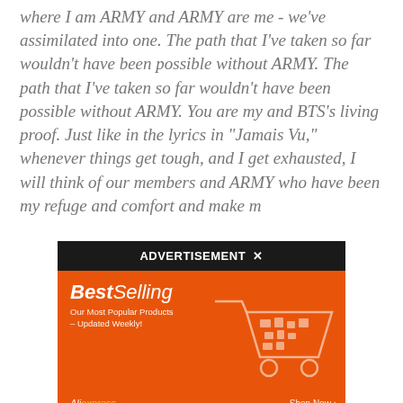where I am ARMY and ARMY are me - we've assimilated into one. The path that I've taken so far wouldn't have been possible without ARMY. The path that I've taken so far wouldn't have been possible without ARMY. You are my and BTS's living proof. Just like in the lyrics in "Jamais Vu," whenever things get tough, and I get exhausted, I will think of our members and ARMY who have been my refuge and comfort and make m...
[Figure (other): Advertisement overlay: black bar with 'ADVERTISEMENT ×' text, below it an AliExpress 'Best Selling' orange banner ad with shopping cart illustration and 'Shop Now' button.]